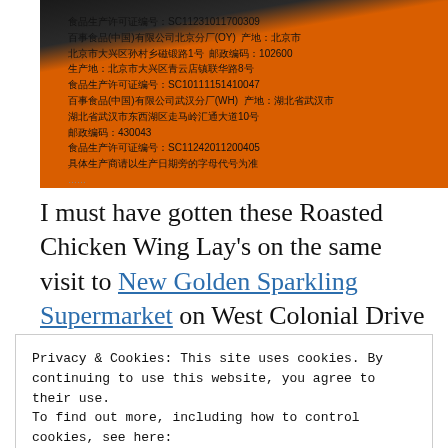[Figure (photo): Photo of an orange Lay's chip bag label with Chinese text showing food production license numbers, manufacturer addresses including Beijing and Wuhan facilities, and postal codes.]
I must have gotten these Roasted Chicken Wing Lay's on the same visit to New Golden Sparkling Supermarket on West Colonial Drive in...
Privacy & Cookies: This site uses cookies. By continuing to use this website, you agree to their use.
To find out more, including how to control cookies, see here: Cookie Policy
[Close and accept button]
sauce more than anything strongly chickeny.  I